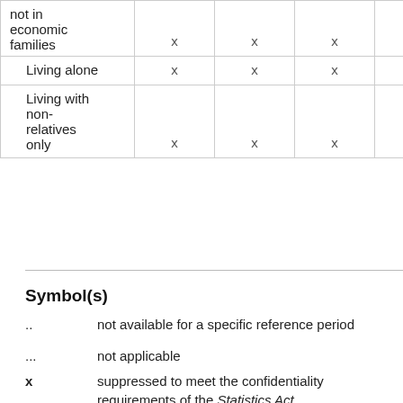|  |  |  |  |  |
| --- | --- | --- | --- | --- |
| not in economic families | x | x | x | x |
| Living alone | x | x | x | x |
| Living with non-relatives only | x | x | x | x |
Symbol(s)
.. — not available for a specific reference period
... — not applicable
x — suppressed to meet the confidentiality requirements of the Statistics Act